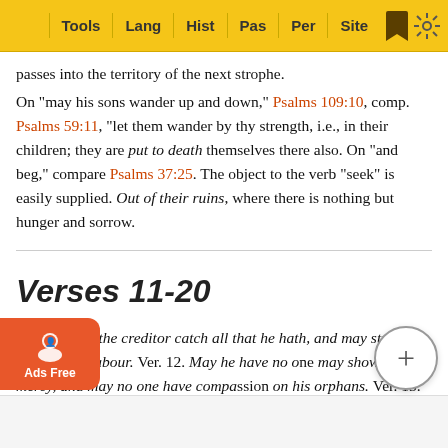Tools | Lang | Hist | Pas | Per | Site
passes into the territory of the next strophe.
On "may his sons wander up and down," Psalms 109:10, comp. Psalms 59:11, "let them wander by thy strength, i.e., in their children; they are put to death themselves there also. On "and beg," compare Psalms 37:25. The object to the verb "seek" is easily supplied. Out of their ruins, where there is nothing but hunger and sorrow.
Verses 11-20
Ver. 11. May the creditor catch all that he hath, and may strangers plunder his labour. Ver. 12. May he have no one may show him mercy, and may no one have compassion on his orphans. Ver. 13. May his posterity be rooted out, and in the following generation may their name be blotted out. Ver. …d by the Lo…out.